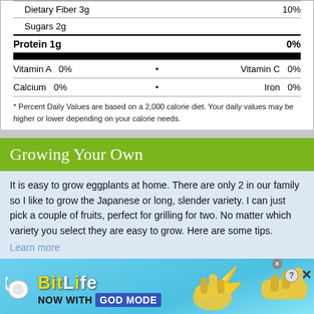| Nutrient | Amount | %DV |
| --- | --- | --- |
| Dietary Fiber 3g |  | 10% |
| Sugars 2g |  |  |
| Protein 1g |  | 0% |
| Vitamin | % | dot | Vitamin | % |
| --- | --- | --- | --- | --- |
| Vitamin A | 0% | • | Vitamin C | 0% |
| Calcium | 0% | • | Iron | 0% |
* Percent Daily Values are based on a 2,000 calorie diet. Your daily values may be higher or lower depending on your calorie needs.
Growing Your Own
It is easy to grow eggplants at home.  There are only 2 in our family so I like to grow the Japanese or long, slender variety.  I can just pick a couple of fruits, perfect for grilling for two.  No matter which variety you select they are easy to grow.  Here are some tips.
Learn more
[Figure (infographic): BitLife advertisement banner: cyan/blue background, BitLife logo in yellow italic text, 'NOW WITH GOD MODE' tagline, yellow cartoon pointing hand graphics, close/help/X buttons in corner]